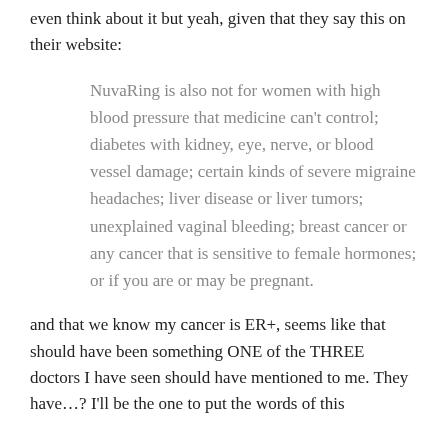even think about it but yeah, given that they say this on their website:
NuvaRing is also not for women with high blood pressure that medicine can't control; diabetes with kidney, eye, nerve, or blood vessel damage; certain kinds of severe migraine headaches; liver disease or liver tumors; unexplained vaginal bleeding; breast cancer or any cancer that is sensitive to female hormones; or if you are or may be pregnant.
and that we know my cancer is ER+, seems like that should have been something ONE of the THREE doctors I have seen should have mentioned to me. They have…? I'll be the one to put the words of this